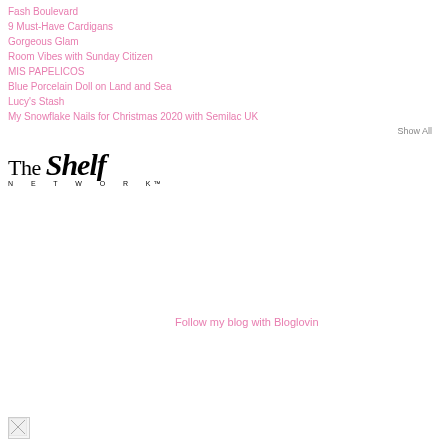Fash Boulevard
9 Must-Have Cardigans
Gorgeous Glam
Room Vibes with Sunday Citizen
MIS PAPELICOS
Blue Porcelain Doll on Land and Sea
Lucy's Stash
My Snowflake Nails for Christmas 2020 with Semilac UK
Show All
[Figure (logo): The Shelf Network logo with stylized serif text]
Follow my blog with Bloglovin
[Figure (photo): Broken/placeholder image thumbnail]